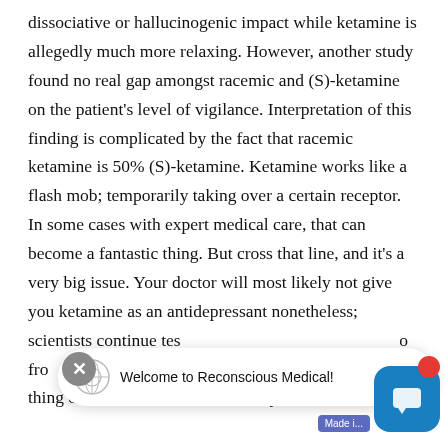dissociative or hallucinogenic impact while ketamine is allegedly much more relaxing. However, another study found no real gap amongst racemic and (S)-ketamine on the patient's level of vigilance. Interpretation of this finding is complicated by the fact that racemic ketamine is 50% (S)-ketamine. Ketamine works like a flash mob; temporarily taking over a certain receptor. In some cases with expert medical care, that can become a fantastic thing. But cross that line, and it's a very big issue. Your doctor will most likely not give you ketamine as an antidepressant nonetheless; scientists continue tes o fro thing once and for all to eliminate your treatment
[Figure (screenshot): Chat popup overlay with close button (X), Reconscious Medical logo icon, 'Welcome to Reconscious Medical!' message bubble, a blue chat widget with red notification dot, and a 'Made in' banner.]